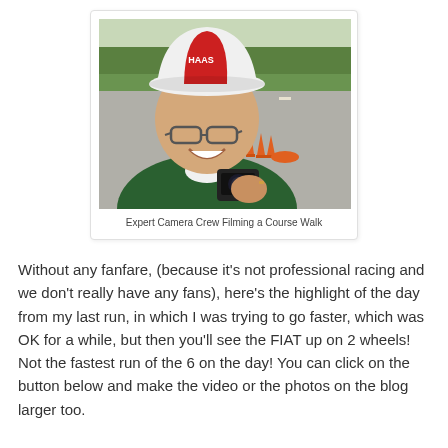[Figure (photo): A man wearing a Haas racing team cap and green jacket holds a small action camera (GoPro style) toward the viewer, smiling. In the background is an outdoor racing/autocross course with orange traffic cones and trees lining the horizon.]
Expert Camera Crew Filming a Course Walk
Without any fanfare, (because it's not professional racing and we don't really have any fans), here's the highlight of the day from my last run, in which I was trying to go faster, which was OK for a while, but then you'll see the FIAT up on 2 wheels! Not the fastest run of the 6 on the day! You can click on the button below and make the video or the photos on the blog larger too.